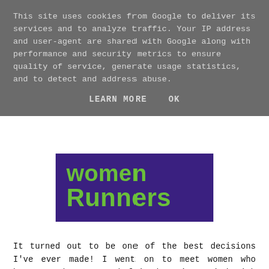This site uses cookies from Google to deliver its services and to analyze traffic. Your IP address and user-agent are shared with Google along with performance and security metrics to ensure quality of service, generate usage statistics, and to detect and address abuse.
LEARN MORE   OK
[Figure (logo): Women Runners logo: green bold text 'women Runners' on a dark purple background]
It turned out to be one of the best decisions I've ever made! I went on to meet women who have now become good friends. I've cried with them, been injured with them and done some crazy runs for prosecco but the most important thing I've learnt? It's not about your speed, it's about being happy within yourself and enjoying the run. Whatever your pace and skill. The support we get from within the group is staggering and it's not